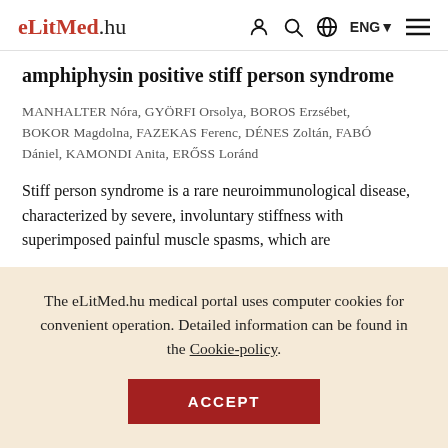eLitMed.hu  ENG
amphiphysin positive stiff person syndrome
MANHALTER Nóra, GYÖRFI Orsolya, BOROS Erzsébet, BOKOR Magdolna, FAZEKAS Ferenc, DÉNES Zoltán, FABÓ Dániel, KAMONDI Anita, ERŐSS Loránd
Stiff person syndrome is a rare neuroimmunological disease, characterized by severe, involuntary stiffness with superimposed painful muscle spasms, which are
The eLitMed.hu medical portal uses computer cookies for convenient operation. Detailed information can be found in the Cookie-policy.
ACCEPT